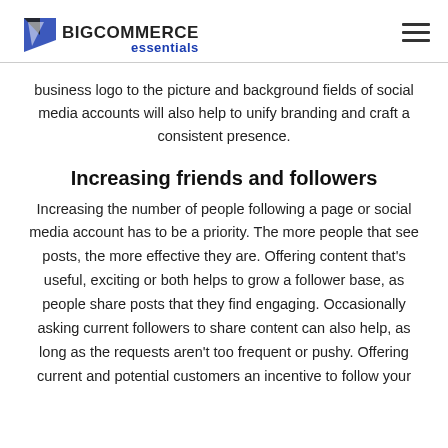BigCommerce essentials
business logo to the picture and background fields of social media accounts will also help to unify branding and craft a consistent presence.
Increasing friends and followers
Increasing the number of people following a page or social media account has to be a priority. The more people that see posts, the more effective they are. Offering content that's useful, exciting or both helps to grow a follower base, as people share posts that they find engaging. Occasionally asking current followers to share content can also help, as long as the requests aren't too frequent or pushy. Offering current and potential customers an incentive to follow your